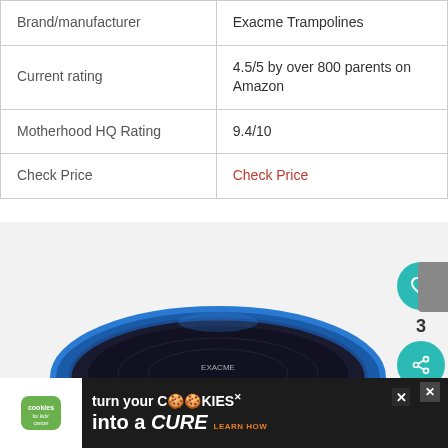| Brand/manufacturer | Exacme Trampolines |
| Current rating | 4.5/5 by over 800 parents on Amazon |
| Motherhood HQ Rating | 9.4/10 |
| Check Price | Check Price |
[Figure (photo): A round trampoline with blue padding around the edge and metal legs, shown against a white background. The Exacme brand trampoline is displayed with its dark jumping mat and blue spring cover.]